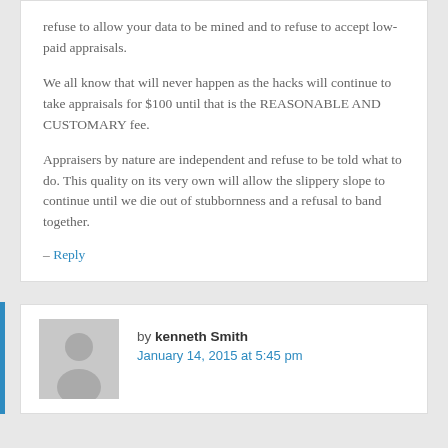refuse to allow your data to be mined and to refuse to accept low-paid appraisals.
We all know that will never happen as the hacks will continue to take appraisals for $100 until that is the REASONABLE AND CUSTOMARY fee.
Appraisers by nature are independent and refuse to be told what to do. This quality on its very own will allow the slippery slope to continue until we die out of stubbornness and a refusal to band together.
– Reply
by kenneth Smith
January 14, 2015 at 5:45 pm